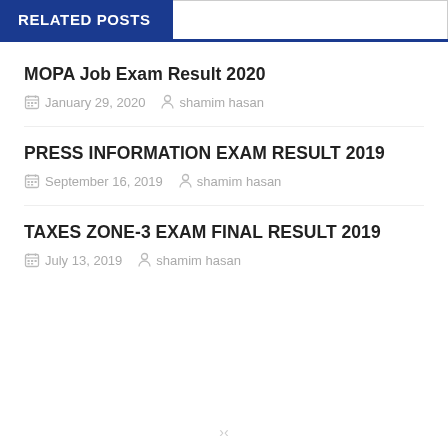RELATED POSTS
MOPA Job Exam Result 2020
January 29, 2020   shamim hasan
PRESS INFORMATION EXAM RESULT 2019
September 16, 2019   shamim hasan
TAXES ZONE-3 EXAM FINAL RESULT 2019
July 13, 2019   shamim hasan